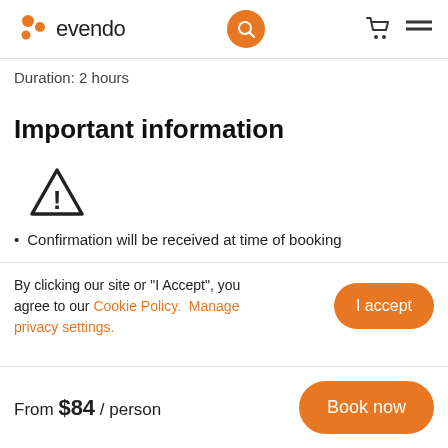evendo
Duration: 2 hours
Important information
[Figure (illustration): Warning triangle icon with exclamation mark]
Confirmation will be received at time of booking
By clicking our site or "I Accept", you agree to our Cookie Policy.  Manage privacy settings.
From $84 / person